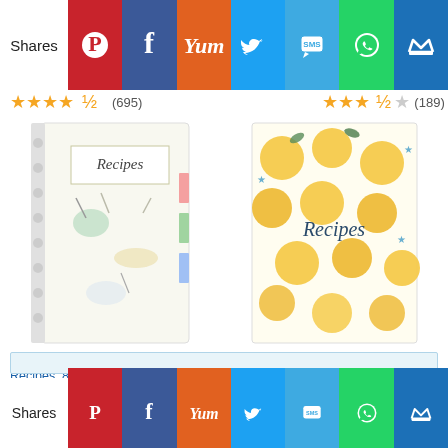[Figure (screenshot): Social share bar at top with Pinterest, Facebook, Yum, Twitter, SMS, WhatsApp, and crown icons]
(695)
(189)
[Figure (photo): Recipe Book to Write in Your Own Recipes, 8.5 x 11 spiral bound with kitchen utensils cover]
[Figure (photo): Recipe Book: A Blank Cookbook To Write In Your Own Recipes with lemon pattern cover]
Recipe Book to Write in Your Own Recipes, 8.5" x 11" Perso…
Recipe Book: A Blank Cookbook To Write In Your Own Recipes
$20.99 ✓prime
$3.99 ✓prime
(872)
(281)
Ads by Amazon
[Figure (screenshot): Social share bar at bottom with Pinterest, Facebook, Yum, Twitter, SMS, WhatsApp, and crown icons]